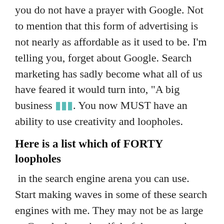you do not have a prayer with Google. Not to mention that this form of advertising is not nearly as affordable as it used to be. I'm telling you, forget about Google. Search marketing has sadly become what all of us have feared it would turn into, "A big business ███. You now MUST have an ability to use creativity and loopholes.
Here is a list which of FORTY loopholes
in the search engine arena you can use. Start making waves in some of these search engines with me. They may not be as large as Google, but a handful of them together could have yo ng some fairly healthy increases in sales and traffic alike. It will be much easier to dominate valuable